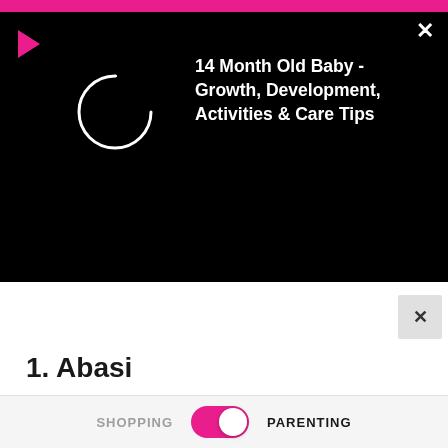[Figure (screenshot): Black video player overlay panel with a red play button triangle in top-left, a loading circle spinner on the left side, and video title text on the right. An X close button is in the top-right corner. A small gray close button appears below the panel on the right.]
1. Abasi
SHOPPING  [toggle on]  PARENTING